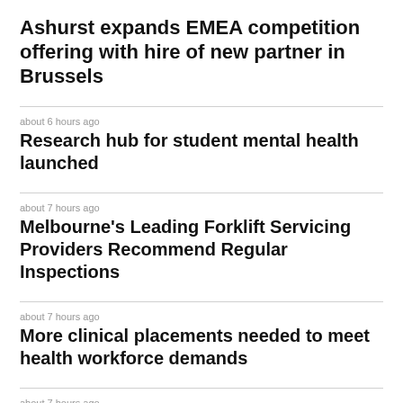Ashurst expands EMEA competition offering with hire of new partner in Brussels
about 6 hours ago
Research hub for student mental health launched
about 7 hours ago
Melbourne's Leading Forklift Servicing Providers Recommend Regular Inspections
about 7 hours ago
More clinical placements needed to meet health workforce demands
about 7 hours ago
Evusheld long-acting antibody combination approved for prevention and treatment of Covid in Japan